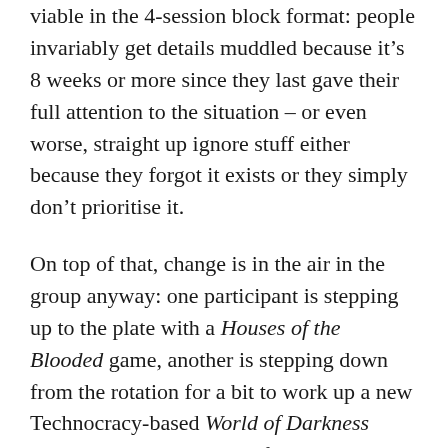viable in the 4-session block format: people invariably get details muddled because it's 8 weeks or more since they last gave their full attention to the situation – or even worse, straight up ignore stuff either because they forgot it exists or they simply don't prioritise it.
On top of that, change is in the air in the group anyway: one participant is stepping up to the plate with a Houses of the Blooded game, another is stepping down from the rotation for a bit to work up a new Technocracy-based World of Darkness game, a third is switching from a 1920s Call of Cthulhu to a modern-day one, and so on. In short, we all seem to be in the mood for a bit of a shake-up, and since like most GMs I have more campaign ideas than I ever have time to run why not